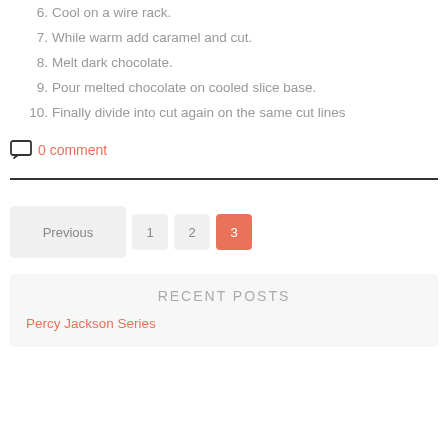6. Cool on a wire rack.
7. While warm add caramel and cut.
8. Melt dark chocolate.
9. Pour melted chocolate on cooled slice base.
10. Finally divide into cut again on the same cut lines
0 comment
Previous 1 2 3
RECENT POSTS
Percy Jackson Series